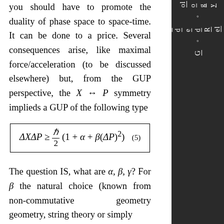you should have to promote the duality of phase space to space-time. It can be done to a price. Several consequences arise, like maximal force/acceleration (to be discussed elsewhere) but, from the GUP perspective, the X ↔ P symmetry implieds a GUP of the following type
The question IS, what are α, β, γ? For β the natural choice (known from non-commutative geometry geometry, string theory or simply
Extended Relativity
G